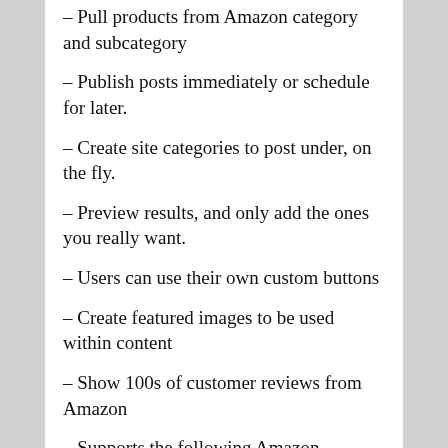– Pull products from Amazon category and subcategory
– Publish posts immediately or schedule for later.
– Create site categories to post under, on the fly.
– Preview results, and only add the ones you really want.
– Users can use their own custom buttons
– Create featured images to be used within content
– Show 100s of customer reviews from Amazon
– Supports the following Amazon domains: Amazon.com, Amazon.ca, Amazon.com.mx, Amazon.co.in, Amazon.co.uk, Amazon.de, Amazon.es,
– Azon Profit Builder